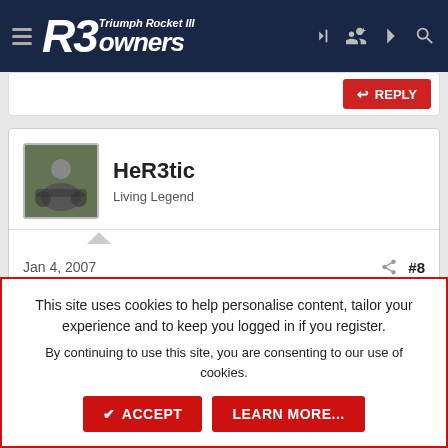R3 Triumph Rocket III owners
[Figure (screenshot): Reply button bar with red REPLY button on right]
[Figure (photo): User avatar photo of person on motorcycle]
HeR3tic
Living Legend
Jan 4, 2007  #8
Sidecar - I didn't see mention of 80K between filter changes.
This site uses cookies to help personalise content, tailor your experience and to keep you logged in if you register.
By continuing to use this site, you are consenting to our use of cookies.
ACCEPT
LEARN MORE...